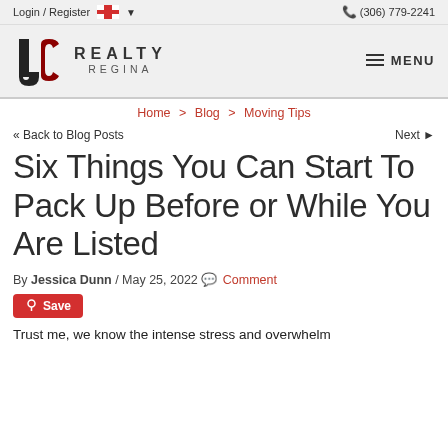Login / Register  (306) 779-2241
[Figure (logo): JC Realty Regina logo with stylized J and C letters and text REALTY REGINA]
Home > Blog > Moving Tips
<< Back to Blog Posts   Next >>
Six Things You Can Start To Pack Up Before or While You Are Listed
By Jessica Dunn / May 25, 2022  Comment
Save
Trust me, we know the intense stress and overwhelm